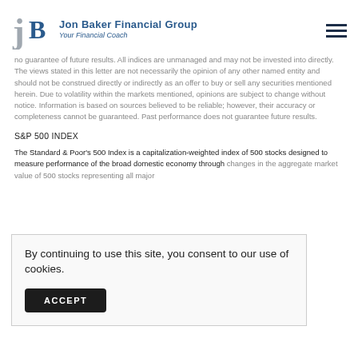Jon Baker Financial Group — Your Financial Coach
no guarantee of future results. All indices are unmanaged and may not be invested into directly. The views stated in this letter are not necessarily the opinion of any other named entity and should not be construed directly or indirectly as an offer to buy or sell any securities mentioned herein. Due to volatility within the markets mentioned, opinions are subject to change without notice. Information is based on sources believed to be reliable; however, their accuracy or completeness cannot be guaranteed. Past performance does not guarantee future results.
S&P 500 INDEX
The Standard & Poor's 500 Index is a capitalization-weighted index of 500 stocks designed to measure performance of the broad domestic economy through changes in the aggregate market value of 500 stocks representing all major industries.
By continuing to use this site, you consent to our use of cookies.